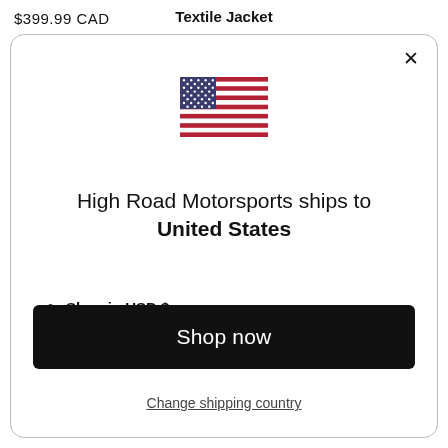$399.99 CAD
Textile Jacket
[Figure (illustration): US flag emoji/icon]
High Road Motorsports ships to United States
Shop in USD $
Get shipping options for United States
Shop now
Change shipping country